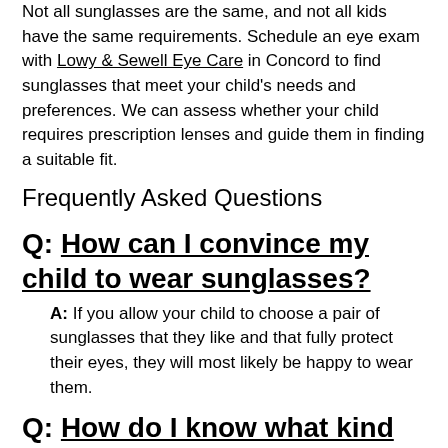Not all sunglasses are the same, and not all kids have the same requirements. Schedule an eye exam with Lowy & Sewell Eye Care in Concord to find sunglasses that meet your child's needs and preferences. We can assess whether your child requires prescription lenses and guide them in finding a suitable fit.
Frequently Asked Questions
Q: How can I convince my child to wear sunglasses?
A: If you allow your child to choose a pair of sunglasses that they like and that fully protect their eyes, they will most likely be happy to wear them.
Q: How do I know what kind of sunglasses to buy for my child?
A: When evaluating sunglasses for your child...